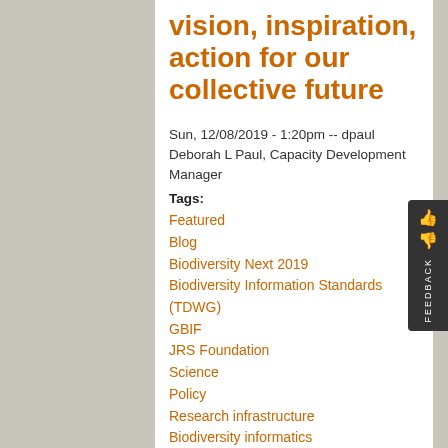vision, inspiration, action for our collective future
Sun, 12/08/2019 - 1:20pm -- dpaul
Deborah L Paul, Capacity Development Manager
Tags:
Featured
Blog
Biodiversity Next 2019
Biodiversity Information Standards (TDWG)
GBIF
JRS Foundation
Science
Policy
Research infrastructure
Biodiversity informatics
[Figure (other): Share / Save button with Facebook, Twitter, and share icons]